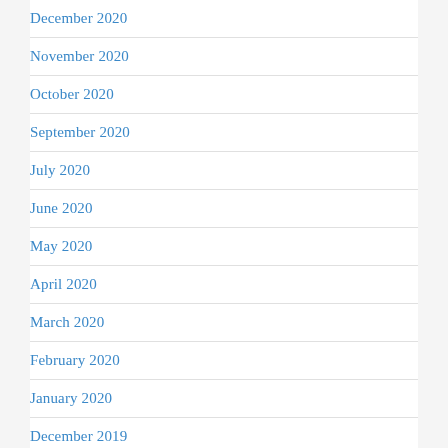December 2020
November 2020
October 2020
September 2020
July 2020
June 2020
May 2020
April 2020
March 2020
February 2020
January 2020
December 2019